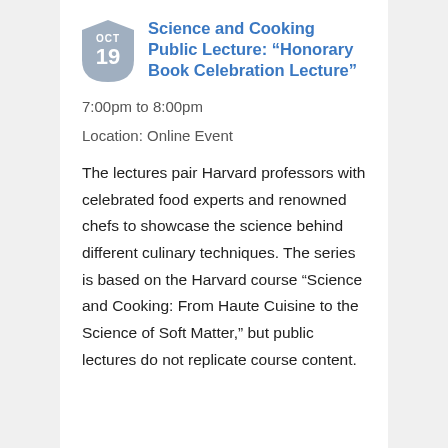[Figure (other): Shield-shaped calendar badge showing OCT 19 in gray/blue]
Science and Cooking Public Lecture: “Honorary Book Celebration Lecture”
7:00pm to 8:00pm
Location: Online Event
The lectures pair Harvard professors with celebrated food experts and renowned chefs to showcase the science behind different culinary techniques. The series is based on the Harvard course “Science and Cooking: From Haute Cuisine to the Science of Soft Matter,” but public lectures do not replicate course content.